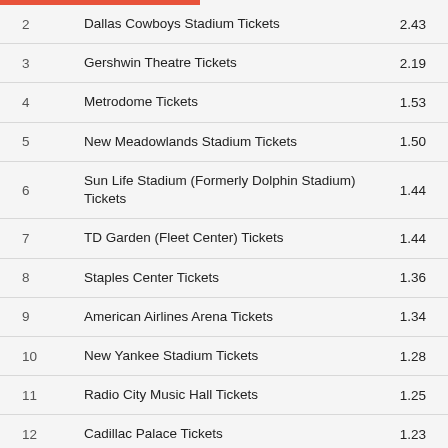| # | Name | Value |
| --- | --- | --- |
| 2 | Dallas Cowboys Stadium Tickets | 2.43 |
| 3 | Gershwin Theatre Tickets | 2.19 |
| 4 | Metrodome Tickets | 1.53 |
| 5 | New Meadowlands Stadium Tickets | 1.50 |
| 6 | Sun Life Stadium (Formerly Dolphin Stadium) Tickets | 1.44 |
| 7 | TD Garden (Fleet Center) Tickets | 1.44 |
| 8 | Staples Center Tickets | 1.36 |
| 9 | American Airlines Arena Tickets | 1.34 |
| 10 | New Yankee Stadium Tickets | 1.28 |
| 11 | Radio City Music Hall Tickets | 1.25 |
| 12 | Cadillac Palace Tickets | 1.23 |